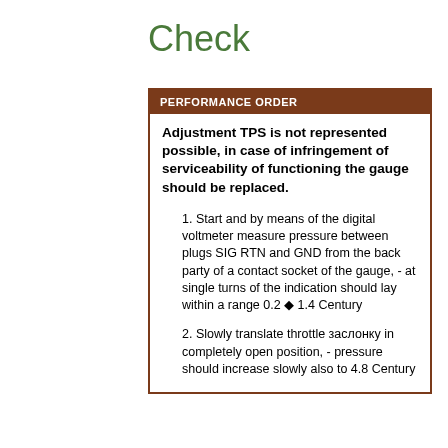Check
PERFORMANCE ORDER
Adjustment TPS is not represented possible, in case of infringement of serviceability of functioning the gauge should be replaced.
1. Start and by means of the digital voltmeter measure pressure between plugs SIG RTN and GND from the back party of a contact socket of the gauge, - at single turns of the indication should lay within a range 0.2 ◆ 1.4 Century
2. Slowly translate throttle заслонку in completely open position, - pressure should increase slowly also to 4.8 Century